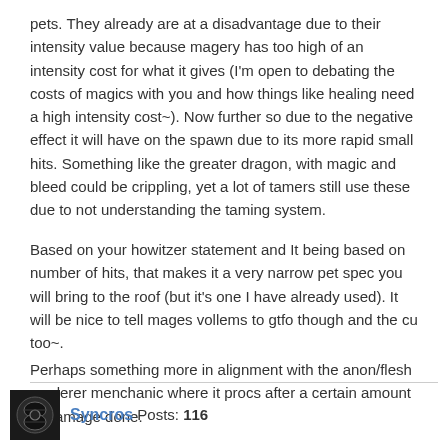pets.  They already are at a disadvantage due to their intensity value because magery has too high of an intensity cost for what it gives (I'm open to debating the costs of magics with you and how things like healing need a high intensity cost~). Now further so due to the negative effect it will have on the spawn due to its more rapid small hits.  Something like the greater dragon, with magic and bleed could be crippling, yet a lot of tamers still use these due to not understanding the taming system.
Based on your howitzer statement and It being based on number of hits, that makes it a very narrow pet spec you will bring to the roof (but it's one I have already used).  It will be nice to tell mages vollems to gtfo though and the cu too~.
Perhaps something more in alignment with the anon/flesh renderer menchanic where it procs after a certain amount of damage done.
Syncros  Posts: 116